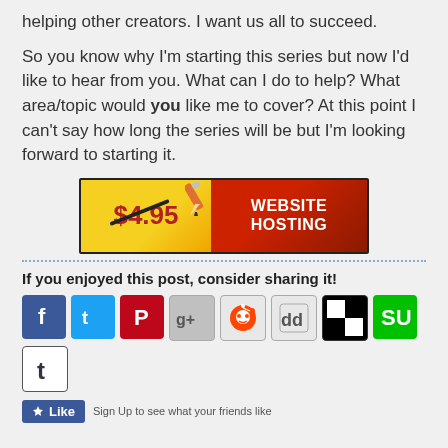helping other creators. I want us all to succeed.
So you know why I'm starting this series but now I'd like to hear from you. What can I do to help? What area/topic would you like me to cover? At this point I can't say how long the series will be but I'm looking forward to starting it.
[Figure (illustration): Advertisement banner for website hosting. Left side has yellow/orange background with crossed-out price '$4.95' in red and a pencil icon. Right side has dark red background with white bold text 'WEBSITE HOSTING'.]
If you enjoyed this post, consider sharing it!
[Figure (infographic): Row of social sharing icon buttons: Facebook, Twitter, Pinterest, Google+, Reddit, Digg, Shareaholic, StumbleUpon, Tumblr]
Sign Up to see what your friends like